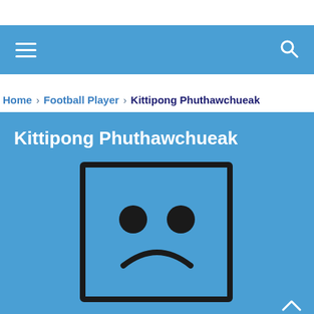Navigation bar with hamburger menu and search icon
Home > Football Player > Kittipong Phuthawchueak
Kittipong Phuthawchueak
[Figure (illustration): Broken image placeholder icon — a square outline with a sad face (two circular eyes and a downward-curved mouth) on a blue background]